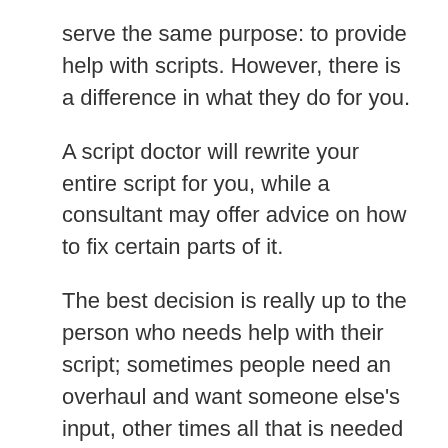serve the same purpose: to provide help with scripts. However, there is a difference in what they do for you.
A script doctor will rewrite your entire script for you, while a consultant may offer advice on how to fix certain parts of it.
The best decision is really up to the person who needs help with their script; sometimes people need an overhaul and want someone else's input, other times all that is needed are minor fixes.